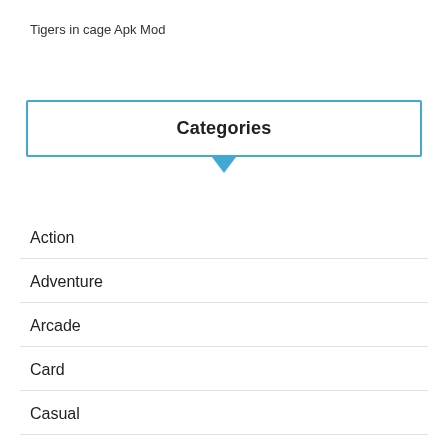Tigers in cage Apk Mod
Categories
Action
Adventure
Arcade
Card
Casual
Educational